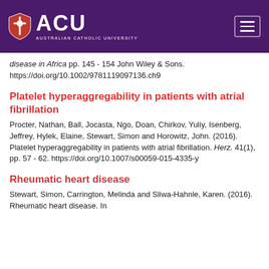ACU - Australian Catholic University
disease in Africa pp. 145 - 154 John Wiley & Sons. https://doi.org/10.1002/9781119097136.ch9
Platelet hyperaggregability in patients with atrial fibrillation
Procter, Nathan, Ball, Jocasta, Ngo, Doan, Chirkov, Yuliy, Isenberg, Jeffrey, Hylek, Elaine, Stewart, Simon and Horowitz, John. (2016). Platelet hyperaggregability in patients with atrial fibrillation. Herz. 41(1), pp. 57 - 62. https://doi.org/10.1007/s00059-015-4335-y
Rheumatic heart disease
Stewart, Simon, Carrington, Melinda and Sliwa-Hahnle, Karen. (2016). Rheumatic heart disease. In